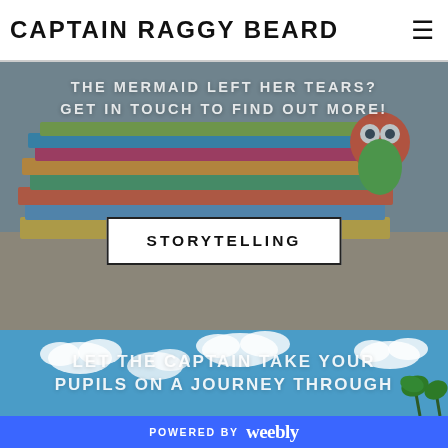CAPTAIN RAGGY BEARD
[Figure (photo): Stack of colorful children's books on a table with a cartoon owl toy in background, hero image with overlay text 'THE MERMAID LEFT HER TEARS? GET IN TOUCH TO FIND OUT MORE!']
STORYTELLING
[Figure (photo): Blue sky with white cloud cutouts and tropical palm trees at bottom, background for journey section with text 'LET THE CAPTAIN TAKE YOUR PUPILS ON A JOURNEY THROUGH']
LET THE CAPTAIN TAKE YOUR PUPILS ON A JOURNEY THROUGH
POWERED BY weebly